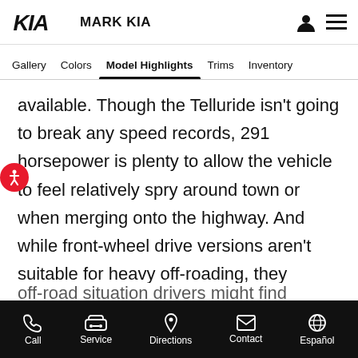KIA - MARK KIA
Gallery  Colors  Model Highlights  Trims  Inventory
available. Though the Telluride isn't going to break any speed records, 291 horsepower is plenty to allow the vehicle to feel relatively spry around town or when merging onto the highway. And while front-wheel drive versions aren't suitable for heavy off-roading, they should still provide plenty of ground clearance for the occasional gravel road, grass field or other light-off-road situation drivers might find themselves in.
Call  Service  Directions  Contact  Español